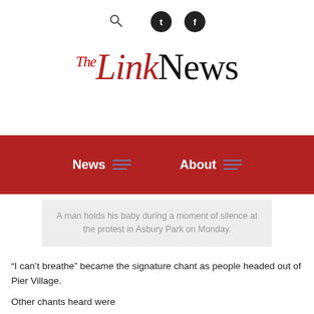The Link News — navigation bar with News and About links
A man holds his baby during a moment of silence at the protest in Asbury Park on Monday.
“I can’t breathe” became the signature chant as people headed out of Pier Village.
Other chants heard were
Hands Up, Don’t Shoot!
Say His Name, George Floyd!
Black Lives Matter!